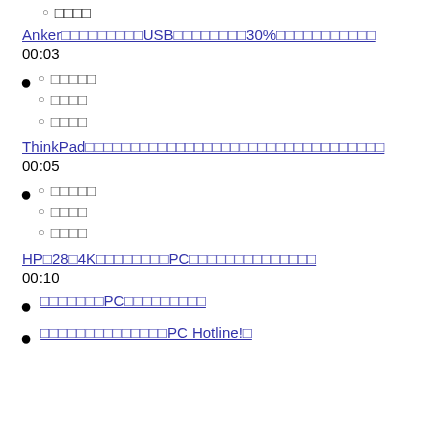□□□□
Anker□□□□□□□□□USB□□□□□□□□30%□□□□□□□□□□□
00:03
□□□□□
□□□□
□□□□
ThinkPad□□□□□□□□□□□□□□□□□□□□□□□□□□□□□□□□□
00:05
□□□□□
□□□□
□□□□
HP□28□4K□□□□□□□□PC□□□□□□□□□□□□□□
00:10
□□□□□□□PC□□□□□□□□□
□□□□□□□□□□□□□□PC Hotline!□